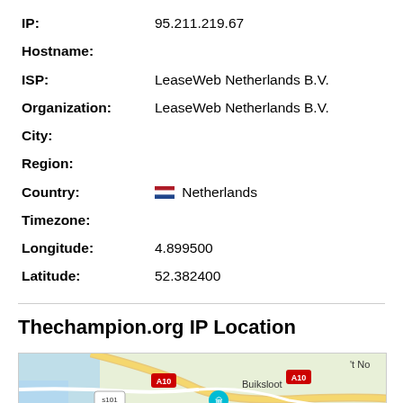| IP: | 95.211.219.67 |
| Hostname: |  |
| ISP: | LeaseWeb Netherlands B.V. |
| Organization: | LeaseWeb Netherlands B.V. |
| City: |  |
| Region: |  |
| Country: | 🇳🇱 Netherlands |
| Timezone: |  |
| Longitude: | 4.899500 |
| Latitude: | 52.382400 |
Thechampion.org IP Location
[Figure (map): Google Maps view showing Amsterdam area with A10 motorway, STRAAT Museum, Buiksloot, s101 road marker, and partial label 't No' and 'Zum'.]